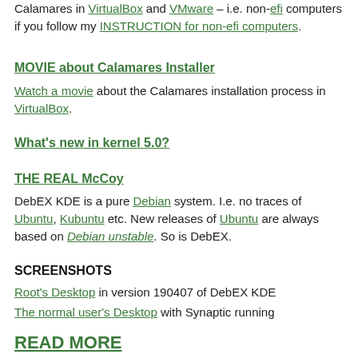Calamares in VirtualBox and VMware – i.e. non-efi computers if you follow my INSTRUCTION for non-efi computers.
MOVIE about Calamares Installer
Watch a movie about the Calamares installation process in VirtualBox.
What's new in kernel 5.0?
THE REAL McCoy
DebEX KDE is a pure Debian system. I.e. no traces of Ubuntu, Kubuntu etc. New releases of Ubuntu are always based on Debian unstable. So is DebEX.
SCREENSHOTS
Root's Desktop in version 190407 of DebEX KDE
The normal user's Desktop with Synaptic running
READ MORE